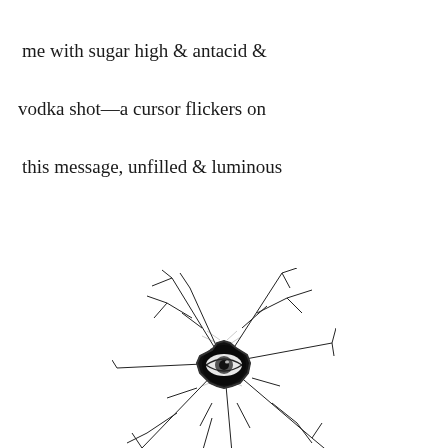me with sugar high & antacid &
vodka shot—a cursor flickers on
this message, unfilled & luminous
[Figure (illustration): A shattered glass or screen with a bullet hole in the center, through which a human eye peers. Cracks radiate outward from the dark hole in all directions. Black and white image.]